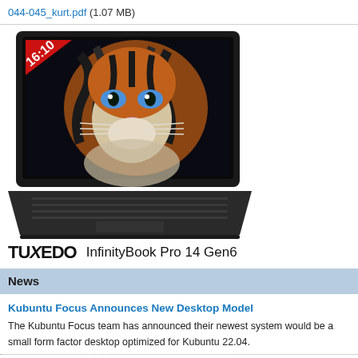044-045_kurt.pdf (1.07 MB)
[Figure (photo): A laptop (TUXEDO InfinityBook Pro 14 Gen6) with a tiger face displayed on its screen. A red badge in the top-left of the screen reads '16:10'.]
TUXEDO InfinityBook Pro 14 Gen6
News
Kubuntu Focus Announces New Desktop Model
The Kubuntu Focus team has announced their newest system would be a small form factor desktop optimized for Kubuntu 22.04.
A New Release of Lightweight Linux Distribution